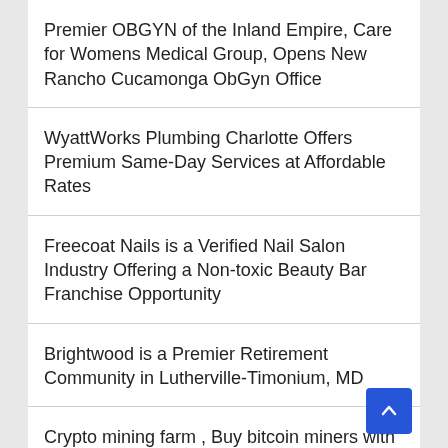Premier OBGYN of the Inland Empire, Care for Womens Medical Group, Opens New Rancho Cucamonga ObGyn Office
WyattWorks Plumbing Charlotte Offers Premium Same-Day Services at Affordable Rates
Freecoat Nails is a Verified Nail Salon Industry Offering a Non-toxic Beauty Bar Franchise Opportunity
Brightwood is a Premier Retirement Community in Lutherville-Timonium, MD
Crypto mining farm , Buy bitcoin miners with hosting contracts